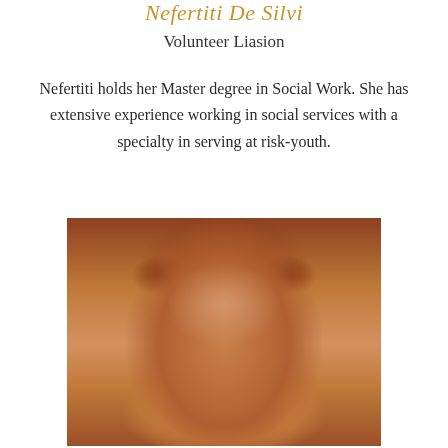Nefertiti De Silvi
Volunteer Liasion
Nefertiti holds her Master degree in Social Work. She has extensive experience working in social services with a specialty in serving at risk-youth.
[Figure (photo): Portrait photo of Nefertiti De Silvi, a woman with auburn/reddish-brown curly hair, smiling with eyes slightly closed, against a warm-toned background.]